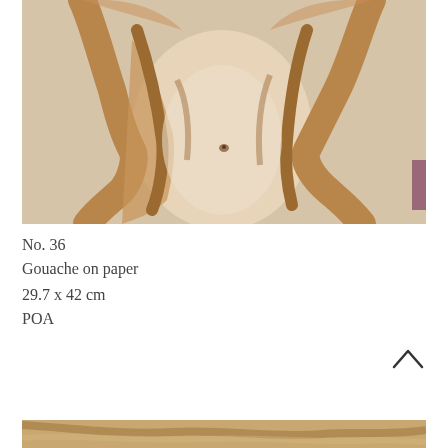[Figure (illustration): Gouache painting of a nude torso/figure in warm brown and beige tones on a light background, cropped at the top showing a partial body from torso to mid section with arms raised, painted in loose gestural style]
No. 36
Gouache on paper
29.7 x 42 cm
POA
[Figure (illustration): Partial view of another artwork at the bottom of the page, showing warm brown tones, cropped]